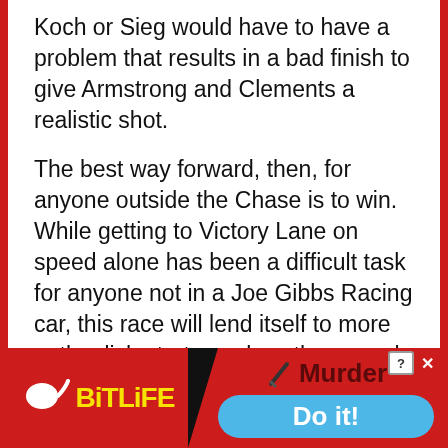Koch or Sieg would have to have a problem that results in a bad finish to give Armstrong and Clements a realistic shot.
The best way forward, then, for anyone outside the Chase is to win.  While getting to Victory Lane on speed alone has been a difficult task for anyone not in a Joe Gibbs Racing car, this race will lend itself to more outlandish strategy plays than usual.
It is not all that unusual to see surprising winners and finishes at Chicagoland.  Justin Labonte got the only NXS win of his career there in 2004.  Casey Mears pulled off the
[Figure (screenshot): Advertisement banner for BitLife mobile game. Red background on left with BitLife logo (yellow text, sperm icon). Right side shows 'Murder' text with knife icon and a blue 'Do it!' button. Close button (X) in top right corner.]